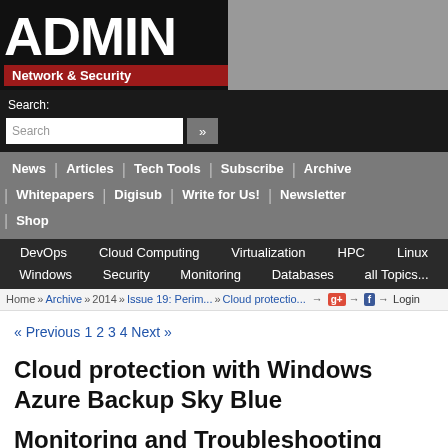[Figure (logo): ADMIN Network & Security magazine logo — white bold ADMIN text on black background, red bar with white 'Network & Security' text]
Search:
Search [search box] »
News | Articles | Tech Tools | Subscribe | Archive | Whitepapers | Digisub | Write for Us! | Newsletter | Shop
DevOps  Cloud Computing  Virtualization  HPC  Linux  Windows  Security  Monitoring  Databases  all Topics...
Home » Archive » 2014 » Issue 19: Perim... » Cloud protectio... g+ f Login
« Previous 1 2 3 4 Next »
Cloud protection with Windows Azure Backup Sky Blue
Monitoring and Troubleshooting